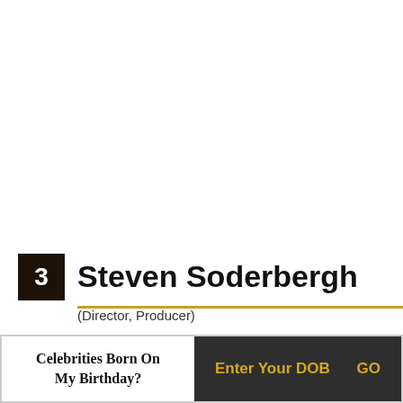3 Steven Soderbergh
(Director, Producer)
[Figure (photo): Close-up photo of Steven Soderbergh's bald head against a dark background with a yellow/gold blurred element visible]
Celebrities Born On My Birthday?
Enter Your DOB   GO